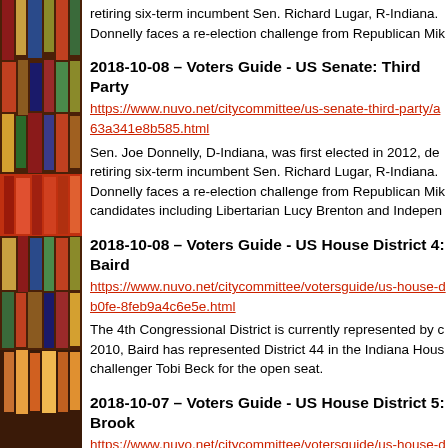retiring six-term incumbent Sen. Richard Lugar, R-Indiana. Donnelly faces a re-election challenge from Republican Mik
2018-10-08 – Voters Guide - US Senate: Third Party
https://www.nuvo.net/citycommittee/us-senate-third-party/a63a341e8b585.html
Sen. Joe Donnelly, D-Indiana, was first elected in 2012, defeating retiring six-term incumbent Sen. Richard Lugar, R-Indiana. Donnelly faces a re-election challenge from Republican Mik candidates including Libertarian Lucy Brenton and Indepen
2018-10-08 – Voters Guide - US House District 4: Baird
https://www.nuvo.net/citycommittee/votersguide/us-house-db0fe-8feb9a4c6e5e.html
The 4th Congressional District is currently represented by c 2010, Baird has represented District 44 in the Indiana House challenger Tobi Beck for the open seat.
2018-10-07 – Voters Guide - US House District 5: Brook
https://www.nuvo.net/citycommittee/votersguide/us-house-d